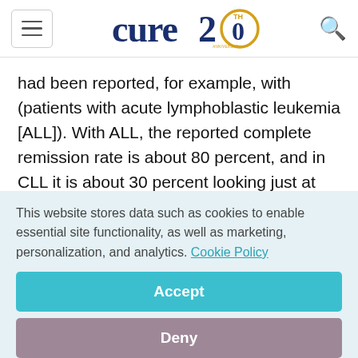cure 20th anniversary
had been reported, for example, with (patients with acute lymphoblastic leukemia [ALL]). With ALL, the reported complete remission rate is about 80 percent, and in CLL it is about 30 percent looking just at CAR-T cell (therapy).
There is a lot of data (from UPenn) in terms of
This website stores data such as cookies to enable essential site functionality, as well as marketing, personalization, and analytics. Cookie Policy
Accept
Deny